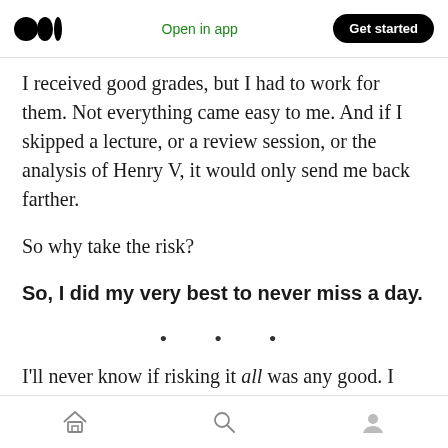Open in app | Get started
I received good grades, but I had to work for them. Not everything came easy to me. And if I skipped a lecture, or a review session, or the analysis of Henry V, it would only send me back farther.
So why take the risk?
So, I did my very best to never miss a day.
· · ·
I'll never know if risking it all was any good. I can
Home | Search | Profile